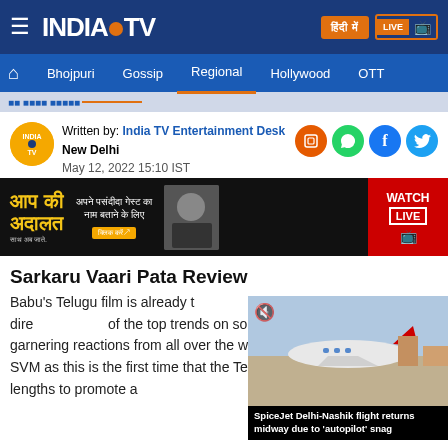INDIA TV — Navigation header with Bhojpuri, Gossip, Regional, Hollywood, OTT
Written by: India TV Entertainment Desk
New Delhi
May 12, 2022 15:10 IST
[Figure (screenshot): Ad banner for Aap Ki Adalat show]
Sarkaru Vaari Pata Review & Tw...
Babu's Telugu film is already t... social media. Parasuram's dire... of the top trends on social media platforms and is garnering reactions from all over the world. Stakes are higher with SVM as this is the first time that the Telugu star has gone to such lengths to promote a
[Figure (screenshot): SpiceJet Delhi-Nashik flight returns midway due to 'autopilot' snag — video overlay]